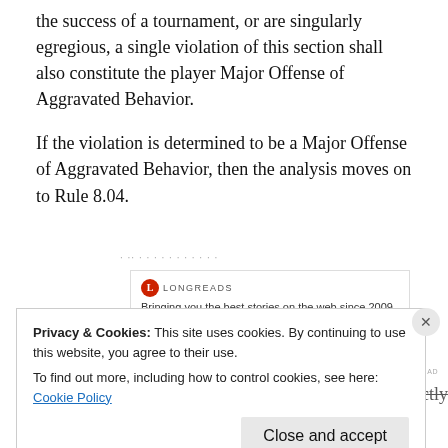the success of a tournament, or are singularly egregious, a single violation of this section shall also constitute the player Major Offense of Aggravated Behavior.
If the violation is determined to be a Major Offense of Aggravated Behavior, then the analysis moves on to Rule 8.04.
[Figure (other): Longreads advertisement banner: logo with red circle containing 'L', brand name LONGREADS, tagline 'Bringing you the best stories on the web since 2009.']
Rule 8.03. g) addresses unsportsmanlike conduct directly
Privacy & Cookies: This site uses cookies. By continuing to use this website, you agree to their use.
To find out more, including how to control cookies, see here: Cookie Policy
Close and accept